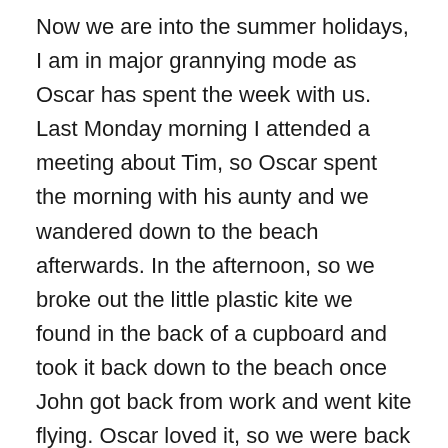Now we are into the summer holidays, I am in major grannying mode as Oscar has spent the week with us. Last Monday morning I attended a meeting about Tim, so Oscar spent the morning with his aunty and we wandered down to the beach afterwards. In the afternoon, so we broke out the little plastic kite we found in the back of a cupboard and took it back down to the beach once John got back from work and went kite flying. Oscar loved it, so we were back there on Tuesday morning and phoned up to get my sister to join us – she's now a firm favourite with Oscar. On Wednesday it poured with rain – but that was okay because Oscar, my sister and me went to watch Despicable Me III at Chichester. We all thoroughly enjoyed it – Oscar ticked us both off for laughing too loudly…
On Thursday, J's parents came down for the day, so we all went out for lunch at the Harbour Lights café, where there